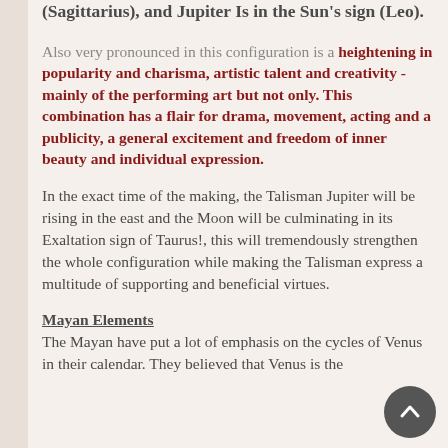(Sagittarius), and Jupiter Is in the Sun's sign (Leo).
Also very pronounced in this configuration is a heightening in popularity and charisma, artistic talent and creativity - mainly of the performing art but not only. This combination has a flair for drama, movement, acting and a publicity, a general excitement and freedom of inner beauty and individual expression.
In the exact time of the making, the Talisman Jupiter will be rising in the east and the Moon will be culminating in its Exaltation sign of Taurus!, this will tremendously strengthen the whole configuration while making the Talisman express a multitude of supporting and beneficial virtues.
Mayan Elements
The Mayan have put a lot of emphasis on the cycles of Venus in their calendar. They believed that Venus is the